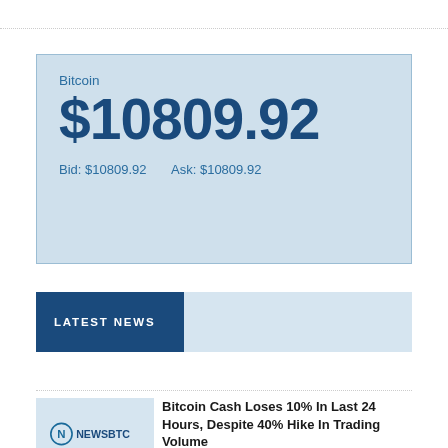| Bitcoin |  |
| $10809.92 |  |
| Bid: $10809.92 | Ask: $10809.92 |
LATEST NEWS
[Figure (logo): NewsBTC logo — circular N icon with NEWSBTC text]
Bitcoin Cash Loses 10% In Last 24 Hours, Despite 40% Hike In Trading Volume